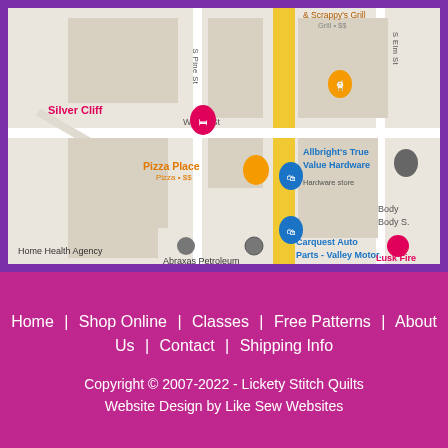[Figure (map): Google Maps screenshot showing streets including W 2nd St, S Pine St, S Elm St with local businesses: Silver Cliff, Allbright's True Value Hardware, Pizza Place, Carquest Auto Parts - Valley Motor., Home Health Agency, Abraxas Petroleum Corporation, Lusk Fire, Body Body S.]
Home | Shop Online | Classes | Free Patterns | About Us | Contact | Shipping Info
Copyright © 2007-2022 - Lickety Stitch Quilts
Website Design by Like Sew Websites